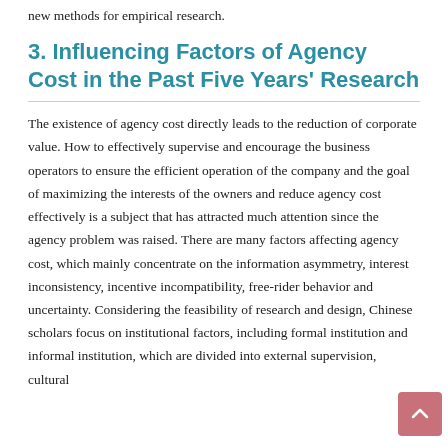new methods for empirical research.
3. Influencing Factors of Agency Cost in the Past Five Years' Research
The existence of agency cost directly leads to the reduction of corporate value. How to effectively supervise and encourage the business operators to ensure the efficient operation of the company and the goal of maximizing the interests of the owners and reduce agency cost effectively is a subject that has attracted much attention since the agency problem was raised. There are many factors affecting agency cost, which mainly concentrate on the information asymmetry, interest inconsistency, incentive incompatibility, free-rider behavior and uncertainty. Considering the feasibility of research and design, Chinese scholars focus on institutional factors, including formal institution and informal institution, which are divided into external supervision, cultural